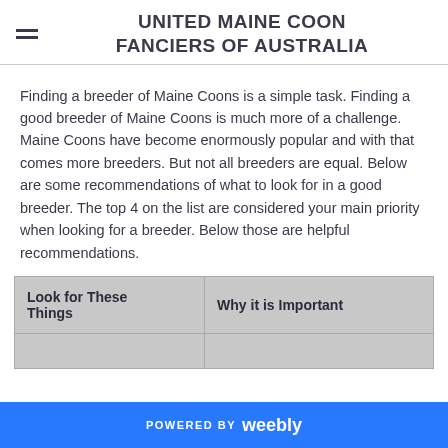UNITED MAINE COON FANCIERS OF AUSTRALIA
Finding a breeder of Maine Coons is a simple task. Finding a good breeder of Maine Coons is much more of a challenge. Maine Coons have become enormously popular and with that comes more breeders. But not all breeders are equal. Below are some recommendations of what to look for in a good breeder. The top 4 on the list are considered your main priority when looking for a breeder. Below those are helpful recommendations.
| Look for These Things | Why it is Important |
| --- | --- |
|  |  |
POWERED BY weebly